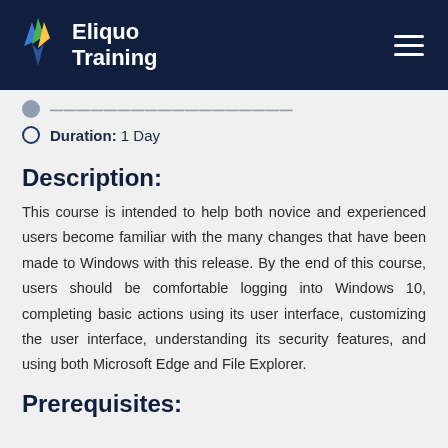Eliquo Training
Duration: 1 Day
Description:
This course is intended to help both novice and experienced users become familiar with the many changes that have been made to Windows with this release. By the end of this course, users should be comfortable logging into Windows 10, completing basic actions using its user interface, customizing the user interface, understanding its security features, and using both Microsoft Edge and File Explorer.
Prerequisites: